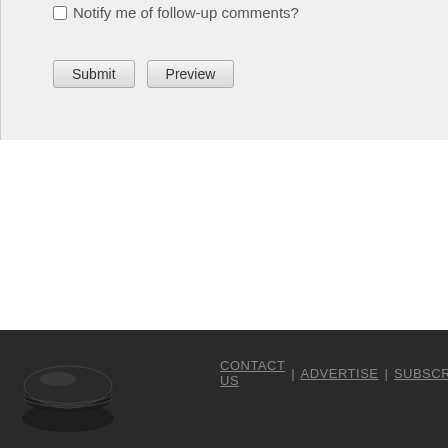Notify me of follow-up comments?
Submit | Preview
[Figure (illustration): Hockey puck logo in dark gray with shiny reflection, positioned in footer]
CONTACT US | ADVERTISE | SUBSCRIBE | PR…